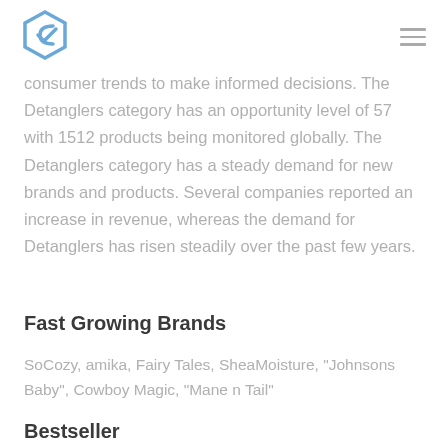[logo] [hamburger menu]
consumer trends to make informed decisions. The Detanglers category has an opportunity level of 57 with 1512 products being monitored globally. The Detanglers category has a steady demand for new brands and products. Several companies reported an increase in revenue, whereas the demand for Detanglers has risen steadily over the past few years.
Fast Growing Brands
SoCozy, amika, Fairy Tales, SheaMoisture, "Johnsons Baby", Cowboy Magic, "Mane n Tail"
Bestseller